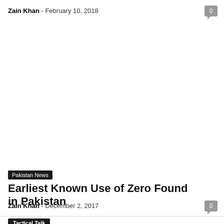Zain Khan - February 10, 2018
0
Pakistan News
Earliest Known Use of Zero Found in Pakistan
Zain Khan - December 2, 2017
0
Tactical Talk